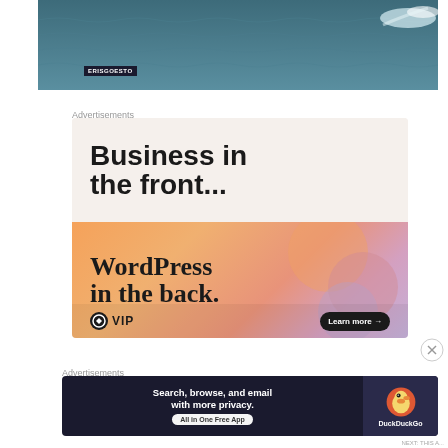[Figure (photo): Ocean/sea surface with waves and a white wake/spray visible at the right side. Watermark 'ERISGOESTO' in bottom left corner.]
Advertisements
[Figure (infographic): WordPress VIP advertisement. Top half: light beige background with bold text 'Business in the front...'. Bottom half: orange-pink gradient background with bold serif text 'WordPress in the back.' and a 'Learn more →' button. WordPress W logo and 'VIP' text at the bottom left.]
Advertisements
[Figure (infographic): DuckDuckGo advertisement on dark navy background. Text: 'Search, browse, and email with more privacy.' with 'All in One Free App' button. DuckDuckGo logo and brand name on the right.]